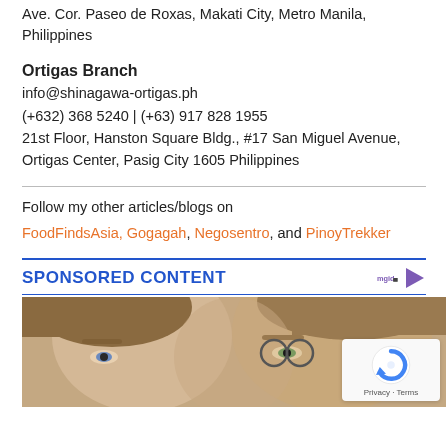Ave. Cor. Paseo de Roxas, Makati City, Metro Manila, Philippines
Ortigas Branch
info@shinagawa-ortigas.ph
(+632) 368 5240 | (+63) 917 828 1955
21st Floor, Hanston Square Bldg., #17 San Miguel Avenue, Ortigas Center, Pasig City 1605 Philippines
Follow my other articles/blogs on FoodFindsAsia, Gogagah, Negosentro, and PinoyTrekker
SPONSORED CONTENT
[Figure (photo): Two women posing together, photo used in sponsored content advertisement]